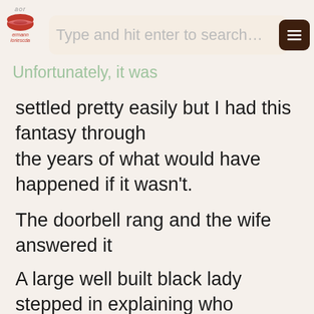Type and hit enter to search…
Unfortunately, it was settled pretty easily but I had this fantasy through the years of what would have happened if it wasn't.
The doorbell rang and the wife answered it
A large well built black lady stepped in explaining who she was and why she was there. She